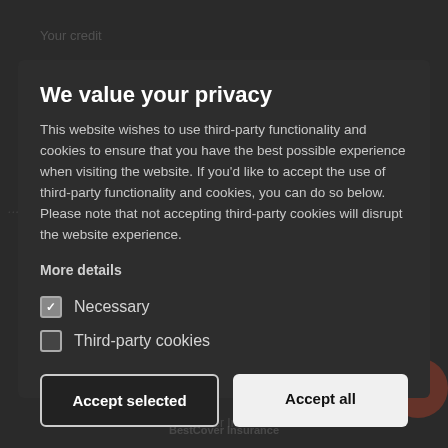Your credit
We value your privacy
This website wishes to use third-party functionality and cookies to ensure that you have the best possible experience when visiting the website. If you'd like to accept the use of third-party functionality and cookies, you can do so below. Please note that not accepting third-party cookies will disrupt the website experience.
More details
Necessary
Third-party cookies
Accept selected
Accept all
BestCover Insurance